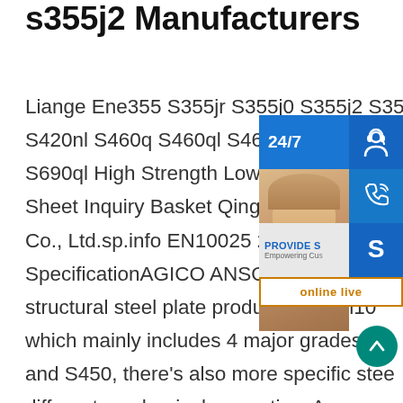s355j2 Manufacturers
Liange Ene355 S355jr S355j0 S355j2 S355nl S420 S420nl S460q S460ql S460ql1 S500q S690ql High Strength Low Alloy Structural Sheet Inquiry Basket Qingdao Quanlong Co., Ltd.sp.info EN10025 2-S235|S275|S SpecificationAGICO ANSON is able to su structural steel plate produced by En10 which mainly includes 4 major grades:S2 and S450, there's also more specific steel grades for different mechanical properties. As same as comm structural steel, steel plate and pipes under this sta are featured with good weldability, formability, hot forming, cold formability sp.info
[Figure (infographic): Customer service widget overlay showing 24/7 chat support with headset icon, phone icon, Skype icon, PROVIDE Empowering Customers text, and online live button in dark blue squares. Also includes a photo of a woman with a headset and a teal scroll-to-top arrow button.]